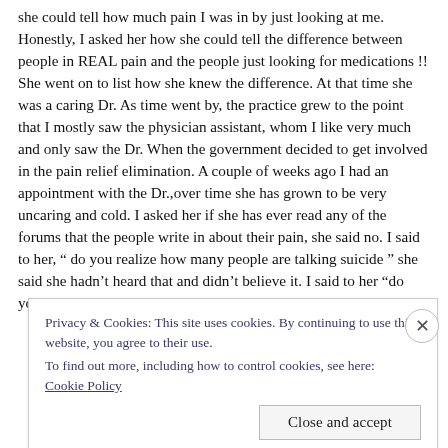she could tell how much pain I was in by just looking at me. Honestly, I asked her how she could tell the difference between people in REAL pain and the people just looking for medications !! She went on to list how she knew the difference. At that time she was a caring Dr. As time went by, the practice grew to the point that I mostly saw the physician assistant, whom I like very much and only saw the Dr. When the government decided to get involved in the pain relief elimination. A couple of weeks ago I had an appointment with the Dr.,over time she has grown to be very uncaring and cold. I asked her if she has ever read any of the forums that the people write in about their pain, she said no. I said to her, “ do you realize how many people are talking suicide ” she said she hadn’t heard that and didn’t believe it. I said to her “do you really think
Privacy & Cookies: This site uses cookies. By continuing to use this website, you agree to their use.
To find out more, including how to control cookies, see here: Cookie Policy
Close and accept